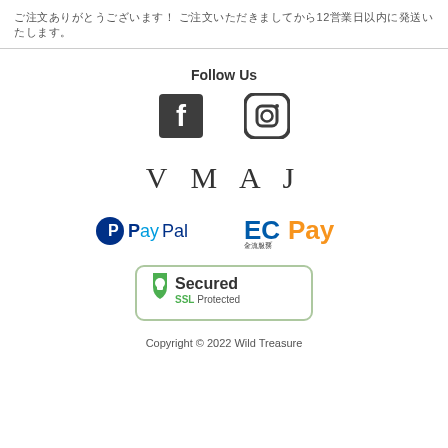ご注文ありがとうございます！ ご注文いただきましてから12営業日以内に発送いたします。
Follow Us
[Figure (logo): Facebook and Instagram social media icons]
[Figure (logo): VMAJ brand name logo in serif font]
[Figure (logo): PayPal and ECPay payment method logos]
[Figure (logo): Secured SSL Protected badge]
Copyright © 2022 Wild Treasure